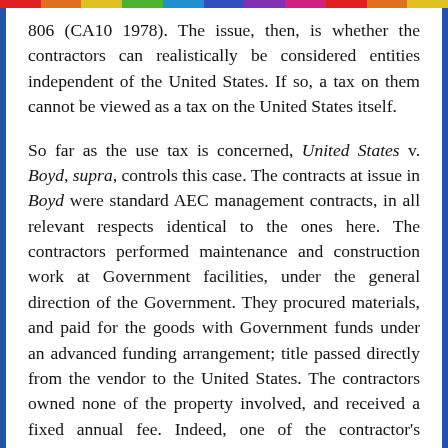806 (CA10 1978). The issue, then, is whether the contractors can realistically be considered entities independent of the United States. If so, a tax on them cannot be viewed as a tax on the United States itself.
So far as the use tax is concerned, United States v. Boyd, supra, controls this case. The contracts at issue in Boyd were standard AEC management contracts, in all relevant respects identical to the ones here. The contractors performed maintenance and construction work at Government facilities, under the general direction of the Government. They procured materials, and paid for the goods with Government funds under an advanced funding arrangement; title passed directly from the vendor to the United States. The contractors owned none of the property involved, and received a fixed annual fee. Indeed, one of the contractor's purchase orders stated that it made